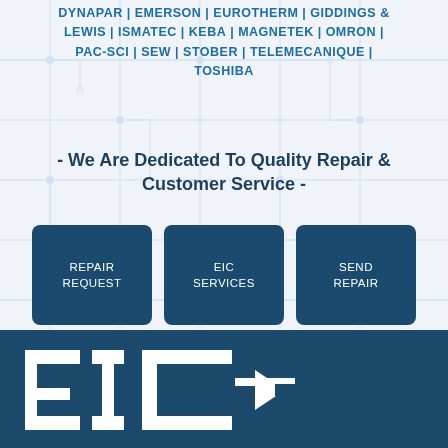DYNAPAR | EMERSON | EUROTHERM | GIDDINGS & LEWIS | ISMATEC | KEBA | MAGNETEK | OMRON | PAC-SCI | SEW | STOBER | TELEMECANIQUE | TOSHIBA
- We Are Dedicated To Quality Repair & Customer Service -
[Figure (infographic): Three dark blue rounded square buttons: Repair Request, EIC Services, Send Repair]
[Figure (infographic): Social media icons: Facebook, Twitter, LinkedIn, YouTube]
[Figure (logo): EIC logo in white on dark blue background, large stylized letters]